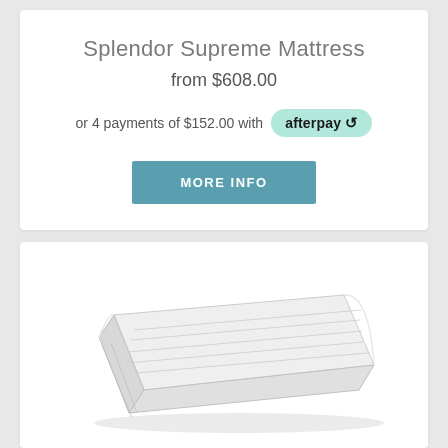Splendor Supreme Mattress
from $608.00
or 4 payments of $152.00 with afterpay
MORE INFO
[Figure (photo): Photo of a white rectangular mattress viewed from a slight angle, showing its top surface and side profile with horizontal stitching lines.]